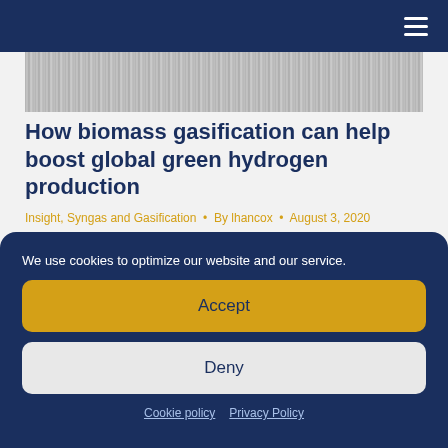[Figure (photo): Grainy textured image strip at top of article area]
How biomass gasification can help boost global green hydrogen production
Insight, Syngas and Gasification • By lhancox • August 3, 2020
Increasing hydrogen use in the global economy is...
We use cookies to optimize our website and our service.
Accept
Deny
Cookie policy   Privacy Policy